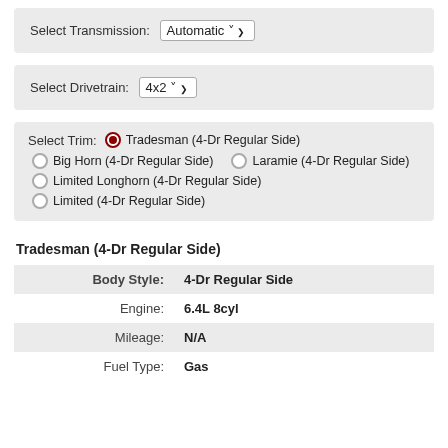Select Transmission: Automatic
Select Drivetrain: 4x2
Select Trim: Tradesman (4-Dr Regular Side) [selected], Big Horn (4-Dr Regular Side), Laramie (4-Dr Regular Side), Limited Longhorn (4-Dr Regular Side), Limited (4-Dr Regular Side)
Tradesman (4-Dr Regular Side)
|  |  |
| --- | --- |
| Body Style: | 4-Dr Regular Side |
| Engine: | 6.4L 8cyl |
| Mileage: | N/A |
| Fuel Type: | Gas |